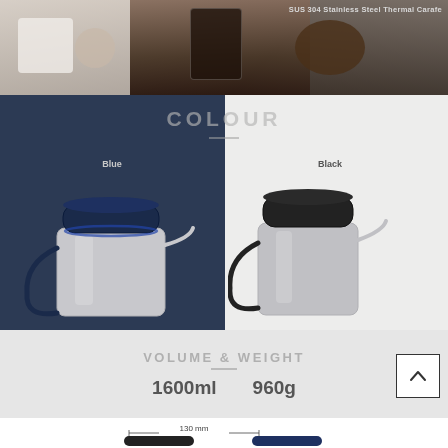[Figure (photo): Top banner photo showing thermal carafe with coffee, coffee beans in a bowl, and ceramic cups on a table. Text overlay reads 'SUS 304 Stainless Steel Thermal Carafe' in top right corner.]
[Figure (photo): Colour section showing two thermal carafes side by side. Left panel has dark navy blue background with a blue-lidded stainless steel carafe labeled 'Blue'. Right panel has light grey background with a black-lidded stainless steel carafe labeled 'Black'. Title 'COLOUR' shown in grey overlay text.]
COLOUR
Blue
Black
VOLUME & WEIGHT
1600ml    960g
[Figure (photo): Bottom dimension diagram showing two thermal carafes (black and blue) with a measurement arrow indicating 130 mm width across the top.]
130 mm